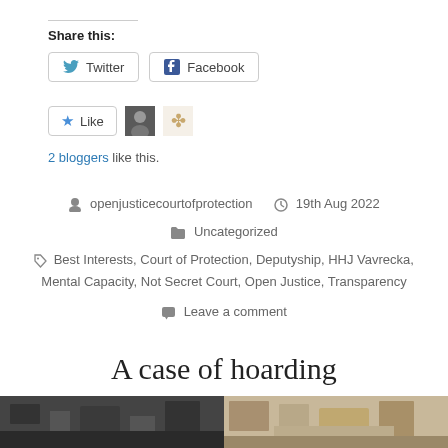Share this:
Twitter  Facebook
Like  [avatars]
2 bloggers like this.
openjusticecourtofprotection   19th Aug 2022
Uncategorized
Best Interests, Court of Protection, Deputyship, HHJ Vavrecka, Mental Capacity, Not Secret Court, Open Justice, Transparency
Leave a comment
A case of hoarding
[Figure (photo): Two side-by-side photos at the bottom of the page showing cluttered/hoarded rooms]